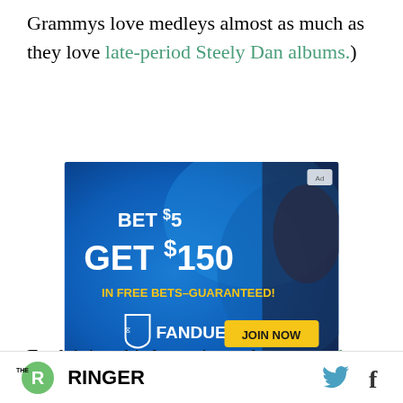Grammys love medleys almost as much as they love late-period Steely Dan albums.)
[Figure (photo): FanDuel advertisement: BET $5 GET $150 IN FREE BETS–GUARANTEED! with JOIN NOW button and FanDuel logo on a blue background with fine print about gambling terms.]
Explaining this last-minute dropout to the
THE RINGER